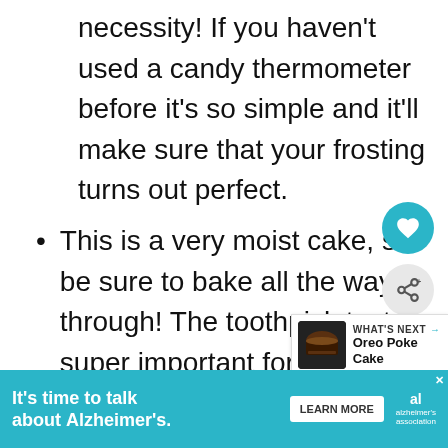necessity! If you haven't used a candy thermometer before it's so simple and it'll make sure that your frosting turns out perfect.
This is a very moist cake, so be sure to bake all the way through! The toothpick test is super important for this recipe.
Make sure to get unsweetened chocolate! This cake is plen... on its own with the sugar and cream,
[Figure (infographic): Teal heart button and grey share button on right side]
[Figure (infographic): What's Next widget showing Oreo Poke Cake]
[Figure (infographic): Alzheimer's Association advertisement banner at bottom: It's time to talk about Alzheimer's. Learn More.]